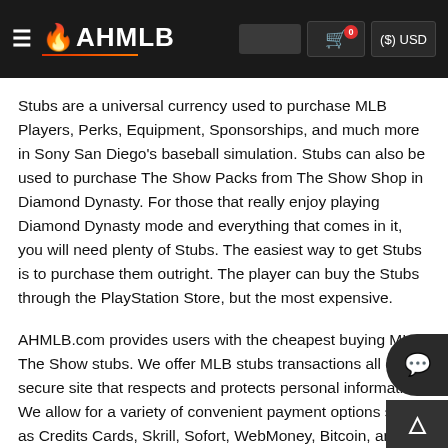AHMLB — ($) USD
Stubs are a universal currency used to purchase MLB Players, Perks, Equipment, Sponsorships, and much more in Sony San Diego's baseball simulation. Stubs can also be used to purchase The Show Packs from The Show Shop in Diamond Dynasty. For those that really enjoy playing Diamond Dynasty mode and everything that comes in it, you will need plenty of Stubs. The easiest way to get Stubs is to purchase them outright. The player can buy the Stubs through the PlayStation Store, but the most expensive.
AHMLB.com provides users with the cheapest buying MLB The Show stubs. We offer MLB stubs transactions all on a secure site that respects and protects personal information. We allow for a variety of convenient payment options such as Credits Cards, Skrill, Sofort, WebMoney, Bitcoin, and AliPay...AHMLB.com strives to complete user's orders in a timely manner while maintaining a professional and